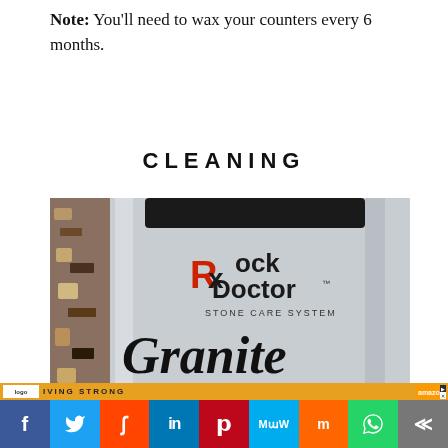Note: You'll need to wax your counters every 6 months.
CLEANING
[Figure (photo): A Rock Doctor Stone Care System Granite care product bottle, silver canister with orange and black branding, next to a granite countertop edge.]
[Figure (infographic): Social media share bar with icons for Facebook, Twitter, Reddit, LinkedIn, Pinterest, MeWe, Mix, WhatsApp, and a share button.]